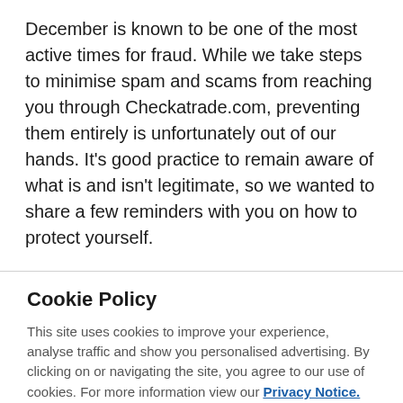December is known to be one of the most active times for fraud. While we take steps to minimise spam and scams from reaching you through Checkatrade.com, preventing them entirely is unfortunately out of our hands. It's good practice to remain aware of what is and isn't legitimate, so we wanted to share a few reminders with you on how to protect yourself.
Cookie Policy
This site uses cookies to improve your experience, analyse traffic and show you personalised advertising. By clicking on or navigating the site, you agree to our use of cookies. For more information view our Privacy Notice.
Accept All Cookies